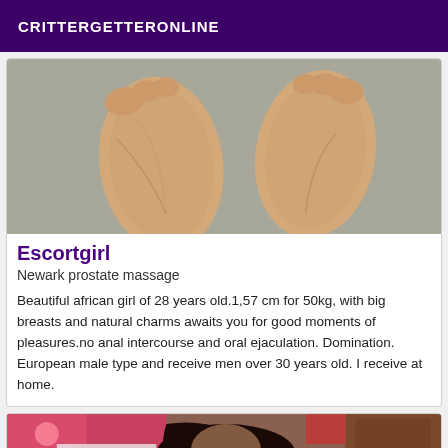CRITTERGETTERONLINE
[Figure (photo): Close-up photo of the soles of two feet on a grey floor]
Escortgirl
Newark prostate massage
Beautiful african girl of 28 years old.1,57 cm for 50kg, with big breasts and natural charms awaits you for good moments of pleasures.no anal intercourse and oral ejaculation. Domination. European male type and receive men over 30 years old. I receive at home.
[Figure (photo): Partial photo of a woman with dark hair lying down, colorful fabric visible]